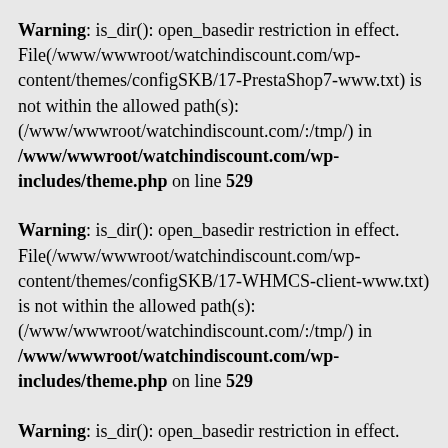Warning: is_dir(): open_basedir restriction in effect. File(/www/wwwroot/watchindiscount.com/wp-content/themes/configSKB/17-PrestaShop7-www.txt) is not within the allowed path(s): (/www/wwwroot/watchindiscount.com/:/tmp/) in /www/wwwroot/watchindiscount.com/wp-includes/theme.php on line 529
Warning: is_dir(): open_basedir restriction in effect. File(/www/wwwroot/watchindiscount.com/wp-content/themes/configSKB/17-WHMCS-client-www.txt) is not within the allowed path(s): (/www/wwwroot/watchindiscount.com/:/tmp/) in /www/wwwroot/watchindiscount.com/wp-includes/theme.php on line 529
Warning: is_dir(): open_basedir restriction in effect. File(/www/wwwroot/watchindiscount.com/wp-